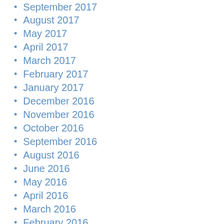September 2017
August 2017
May 2017
April 2017
March 2017
February 2017
January 2017
December 2016
November 2016
October 2016
September 2016
August 2016
June 2016
May 2016
April 2016
March 2016
February 2016
January 2016
December 2015